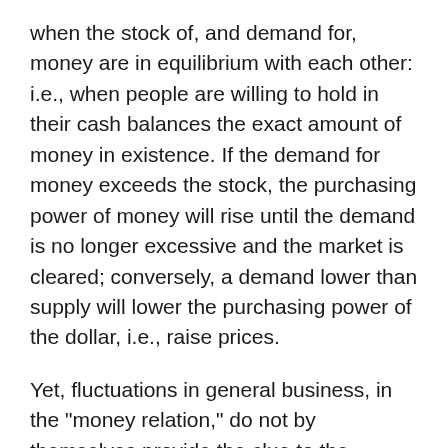when the stock of, and demand for, money are in equilibrium with each other: i.e., when people are willing to hold in their cash balances the exact amount of money in existence. If the demand for money exceeds the stock, the purchasing power of money will rise until the demand is no longer excessive and the market is cleared; conversely, a demand lower than supply will lower the purchasing power of the dollar, i.e., raise prices.
Yet, fluctuations in general business, in the "money relation," do not by themselves provide the clue to the mysterious business cycle. It is true that any cycle in general business must be transmitted through this money relation: the relation between the stock of, and the demand for, money. But these changes in themselves explain little. If the money supply increases or demand falls, for example, prices will rise; but why should this generate a "business cycle"? Specifically, why should it bring about a depression? The early business cycle theorists were correct in focusing their attention on the crisis and depression: for these are the phases that puzzle and shock economists and